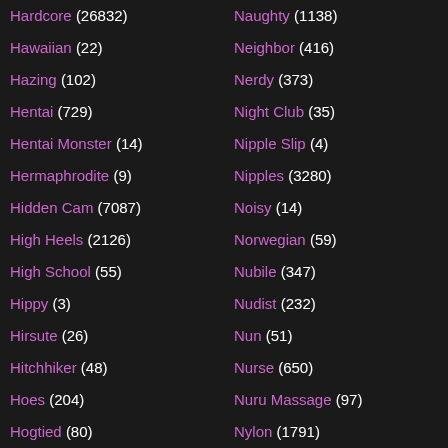Hardcore (26832)
Naughty (1138)
Hawaiian (22)
Neighbor (416)
Hazing (102)
Nerdy (373)
Hentai (729)
Night Club (35)
Hentai Monster (14)
Nipple Slip (4)
Hermaphrodite (9)
Nipples (3280)
Hidden Cam (7087)
Noisy (14)
High Heels (2126)
Norwegian (59)
High School (55)
Nubile (347)
Hippy (3)
Nudist (232)
Hirsute (26)
Nun (51)
Hitchhiker (48)
Nurse (650)
Hoes (204)
Nuru Massage (97)
Hogtied (80)
Nylon (1791)
Holiday (122)
Nympho (136)
Hollywood (52)
Obese (19)